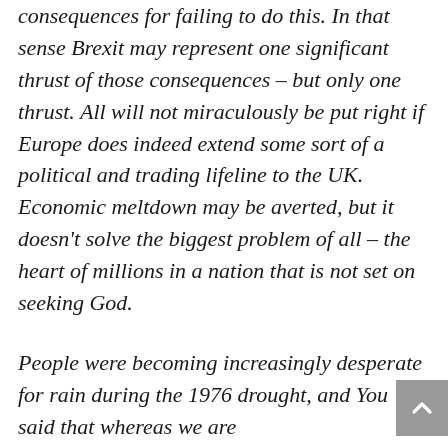consequences for failing to do this. In that sense Brexit may represent one significant thrust of those consequences – but only one thrust. All will not miraculously be put right if Europe does indeed extend some sort of a political and trading lifeline to the UK. Economic meltdown may be averted, but it doesn't solve the biggest problem of all – the heart of millions in a nation that is not set on seeking God.
People were becoming increasingly desperate for rain during the 1976 drought, and You said that whereas we are